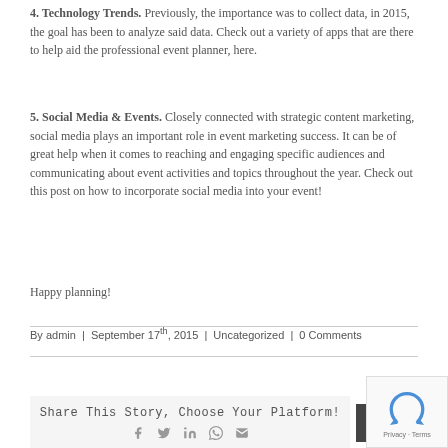4. Technology Trends. Previously, the importance was to collect data, in 2015, the goal has been to analyze said data. Check out a variety of apps that are there to help aid the professional event planner, here.
5. Social Media & Events. Closely connected with strategic content marketing, social media plays an important role in event marketing success. It can be of great help when it comes to reaching and engaging specific audiences and communicating about event activities and topics throughout the year. Check out this post on how to incorporate social media into your event!
Happy planning!
By admin | September 17th, 2015 | Uncategorized | 0 Comments
Share This Story, Choose Your Platform!